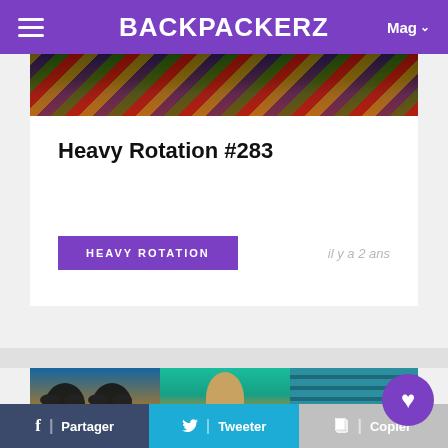BACKPACKERZ
[Figure (photo): Partial view of a person wearing a plaid/tartan shirt with fringe decoration, top portion cropped]
Heavy Rotation #283
HEAVY ROTATION
il y a 2 ans
[Figure (photo): Three side-by-side images: two people with sunglasses on blue/sandy background; stylized Mona Lisa on teal/orange background; teal venetian blinds]
f | Partager   🐦 | Tweeter   🗋 | Copier